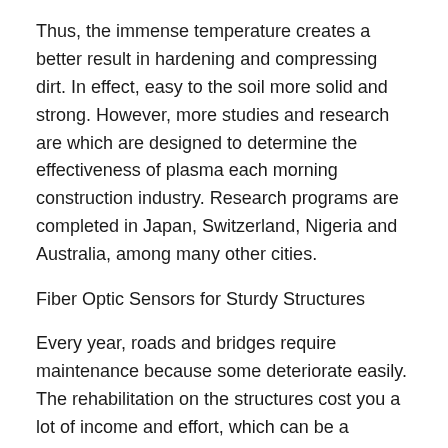Thus, the immense temperature creates a better result in hardening and compressing dirt. In effect, easy to the soil more solid and strong. However, more studies and research are which are designed to determine the effectiveness of plasma each morning construction industry. Research programs are completed in Japan, Switzerland, Nigeria and Australia, among many other cities.
Fiber Optic Sensors for Sturdy Structures
Every year, roads and bridges require maintenance because some deteriorate easily. The rehabilitation on the structures cost you a lot of income and effort, which can be a problem for the government and federal sectors. Thus, researchers have proposed the use smart structures to strengthen and prevent quick deterioration of construction projects. Fractional treatments is analyzed and studied at the University of Toronto, in the